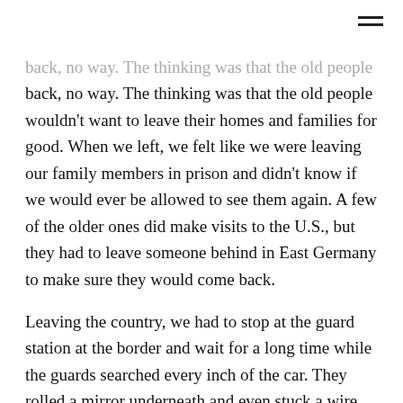back, no way. The thinking was that the old people wouldn't want to leave their homes and families for good. When we left, we felt like we were leaving our family members in prison and didn't know if we would ever be allowed to see them again. A few of the older ones did make visits to the U.S., but they had to leave someone behind in East Germany to make sure they would come back.

Leaving the country, we had to stop at the guard station at the border and wait for a long time while the guards searched every inch of the car. They rolled a mirror underneath and even stuck a wire into the gas tank to make sure we weren't smuggling anyone out. We kids